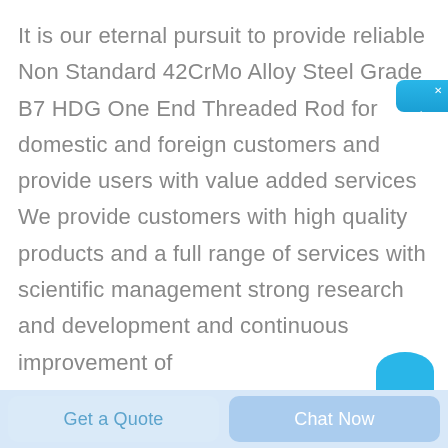It is our eternal pursuit to provide reliable Non Standard 42CrMo Alloy Steel Grade B7 HDG One End Threaded Rod for domestic and foreign customers and provide users with value added services We provide customers with high quality products and a full range of services with scientific management strong research and development and continuous improvement of
[Figure (other): Blue chat widget on right side with Chinese characters reading '在线咨询' (online consultation) and a close button]
[Figure (other): Partial blue circle visible at bottom right above the footer bar]
Get a Quote
Chat Now